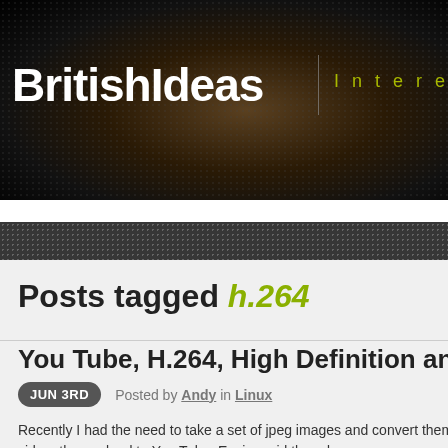BRITISHIDEAS | Interesting
HOME | ABOUT | CONTACT | OPEN RADIO CONTROL
Posts tagged h.264
You Tube, H.264, High Definition and FFm
JUN 3RD  Posted by Andy in Linux
Recently I had the need to take a set of jpeg images and convert them into a video, then upload to You Tube. Easier said than done...